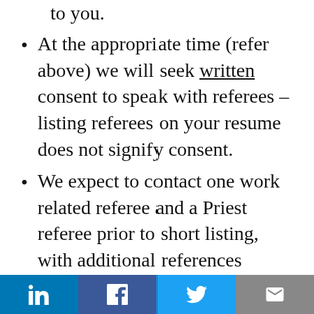to you.
At the appropriate time (refer above) we will seek written consent to speak with referees – listing referees on your resume does not signify consent.
We expect to contact one work related referee and a Priest referee prior to short listing, with additional references completed later in the process.  You should always expect that prior to reaching the final stage